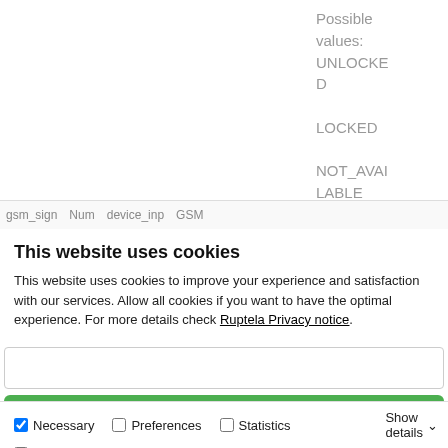Possible values: UNLOCKED LOCKED NOT_AVAILABLE
| gsm_sign | Num | device_inp | GSM |
| --- | --- | --- | --- |
This website uses cookies
This website uses cookies to improve your experience and satisfaction with our services. Allow all cookies if you want to have the optimal experience. For more details check Ruptela Privacy notice.
Necessary  Preferences  Statistics  Marketing  Show details